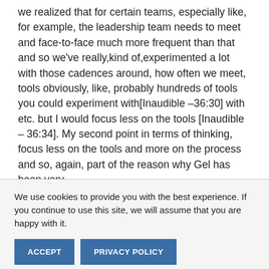we realized that for certain teams, especially like, for example, the leadership team needs to meet and face-to-face much more frequent than that and so we've really,kind of,experimented a lot with those cadences around, how often we meet, tools obviously, like, probably hundreds of tools you could experiment with[Inaudible –36:30] with etc. but I would focus less on the tools [Inaudible – 36:34]. My second point in terms of thinking, focus less on the tools and more on the process and so, again, part of the reason why Gel has been very
We use cookies to provide you with the best experience. If you continue to use this site, we will assume that you are happy with it.
ACCEPT
PRIVACY POLICY